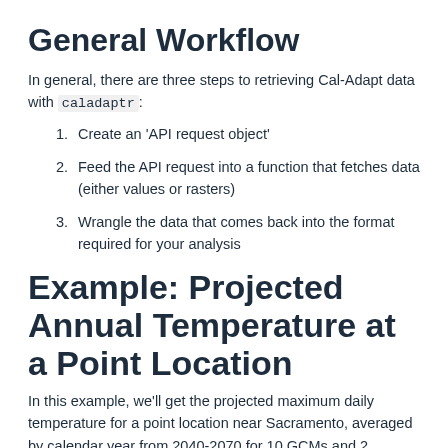General Workflow
In general, there are three steps to retrieving Cal-Adapt data with caladaptr:
Create an 'API request object'
Feed the API request into a function that fetches data (either values or rasters)
Wrangle the data that comes back into the format required for your analysis
Example: Projected Annual Temperature at a Point Location
In this example, we'll get the projected maximum daily temperature for a point location near Sacramento, averaged by calendar year from 2040-2070 for 10 GCMs and 2 emission...